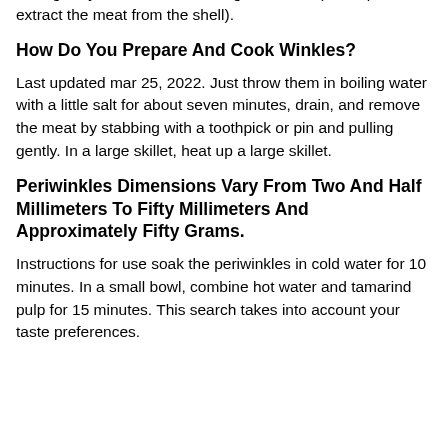shell glossy and serve with vinegar and salt (and a pin to extract the meat from the shell).
How Do You Prepare And Cook Winkles?
Last updated mar 25, 2022. Just throw them in boiling water with a little salt for about seven minutes, drain, and remove the meat by stabbing with a toothpick or pin and pulling gently. In a large skillet, heat up a large skillet.
Periwinkles Dimensions Vary From Two And Half Millimeters To Fifty Millimeters And Approximately Fifty Grams.
Instructions for use soak the periwinkles in cold water for 10 minutes. In a small bowl, combine hot water and tamarind pulp for 15 minutes. This search takes into account your taste preferences.